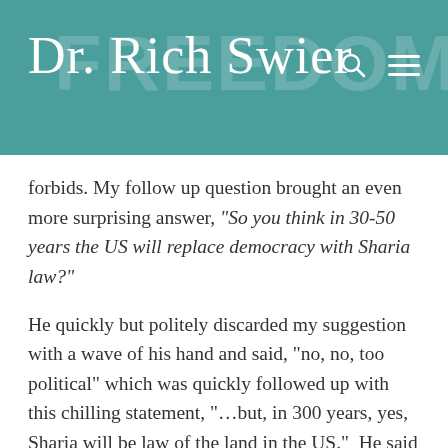Dr. Rich Swier
forbids. My follow up question brought an even more surprising answer, “So you think in 30-50 years the US will replace democracy with Sharia law?”
He quickly but politely discarded my suggestion with a wave of his hand and said, “no, no, too political” which was quickly followed up with this chilling statement, “…but, in 300 years, yes, Sharia will be law of the land in the US.”  He said this with the certainty of someone who knows the sun will rise in the east tomorrow.